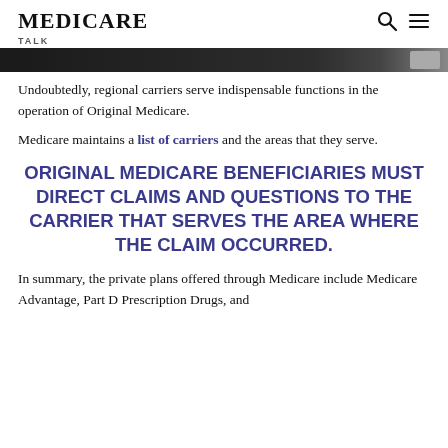MEDICARE
TALK
[Figure (photo): Partial photo strip, dark toned image with a small thumbnail on the right]
Undoubtedly, regional carriers serve indispensable functions in the operation of Original Medicare.
Medicare maintains a list of carriers and the areas that they serve.
ORIGINAL MEDICARE BENEFICIARIES MUST DIRECT CLAIMS AND QUESTIONS TO THE CARRIER THAT SERVES THE AREA WHERE THE CLAIM OCCURRED.
In summary, the private plans offered through Medicare include Medicare Advantage, Part D Prescription Drugs, and